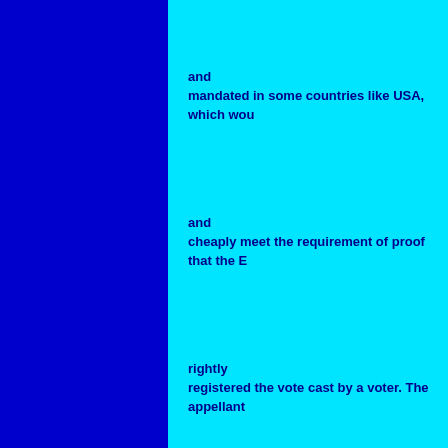and
mandated in some countries like USA, which wou
and
cheaply meet the requirement of proof that the E
rightly
registered the vote cast by a voter. The appellant
further
highlighted that the “paper trail” system is to
supplement
the procedure of voting as in this procedure,